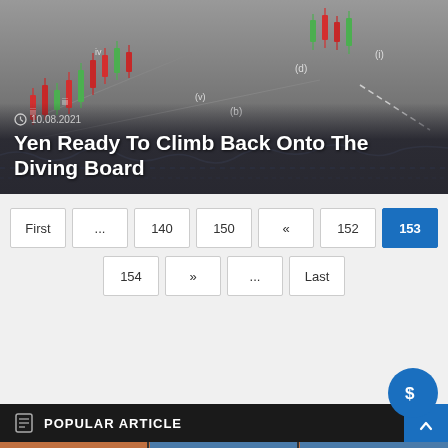[Figure (screenshot): Financial candlestick chart with wave labels (iii, iv, v, b, d, i) and trend lines on a gray background]
10.08.2021
Yen Ready To Climb Back Onto The Diving Board
First ... 140 150 « 152 153 154 » ... Last
POPULAR ARTICLE
[Figure (photo): Row of Maersk shipping containers in blue and brown colors]